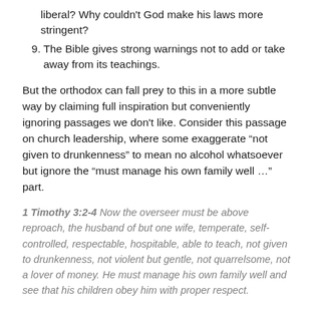liberal? Why couldn't God make his laws more stringent?
9. The Bible gives strong warnings not to add or take away from its teachings.
But the orthodox can fall prey to this in a more subtle way by claiming full inspiration but conveniently ignoring passages we don't like. Consider this passage on church leadership, where some exaggerate “not given to drunkenness” to mean no alcohol whatsoever but ignore the “must manage his own family well …” part.
1 Timothy 3:2-4 Now the overseer must be above reproach, the husband of but one wife, temperate, self-controlled, respectable, hospitable, able to teach, not given to drunkenness, not violent but gentle, not quarrelsome, not a lover of money. He must manage his own family well and see that his children obey him with proper respect.